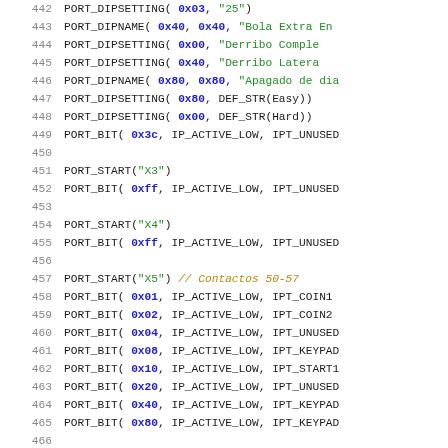Source code listing lines 442-468 showing PORT_DIPSETTING, PORT_DIPNAME, PORT_BIT, PORT_START macros with hex values, string arguments, and comments